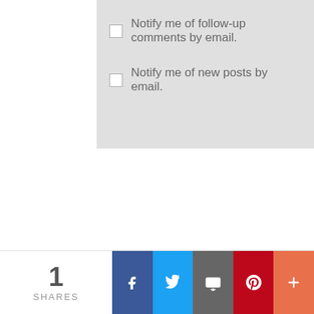Notify me of follow-up comments by email.
Notify me of new posts by email.
1 SHARES